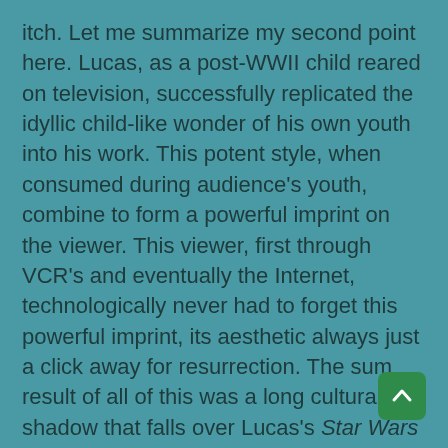itch. Let me summarize my second point here. Lucas, as a post-WWII child reared on television, successfully replicated the idyllic child-like wonder of his own youth into his work. This potent style, when consumed during audience's youth, combine to form a powerful imprint on the viewer. This viewer, first through VCR's and eventually the Internet, technologically never had to forget this powerful imprint, its aesthetic always just a click away for resurrection. The sum result of all of this was a long cultural shadow that falls over Lucas's Star Wars (1977) and his audience's subsequent consumption of it.
At this point, I'd like to outline my two points so I may set up my conclusion.